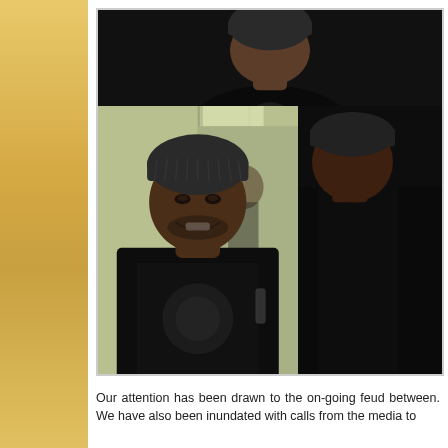[Figure (photo): Photo collage showing a man (two views) wearing a black beanie hat and black graphic t-shirt, smiling, photographed in what appears to be a mirrored room or lobby.]
Our attention has been drawn to the on-going feud between. We have also been inundated with calls from the media to